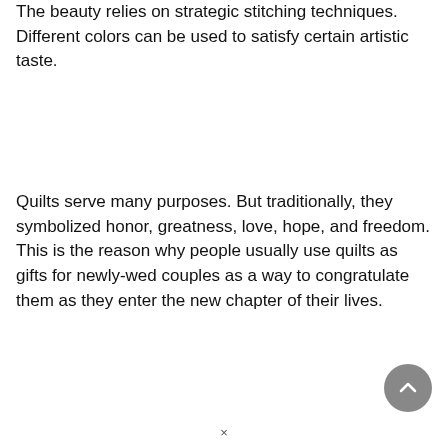The beauty relies on strategic stitching techniques. Different colors can be used to satisfy certain artistic taste.
Quilts serve many purposes. But traditionally, they symbolized honor, greatness, love, hope, and freedom. This is the reason why people usually use quilts as gifts for newly-wed couples as a way to congratulate them as they enter the new chapter of their lives.